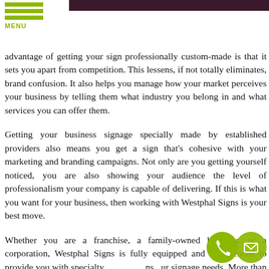[Figure (photo): Dark brownish-purple image strip at top of page, partially visible]
MENU
advantage of getting your sign professionally custom-made is that it sets you apart from competition. This lessens, if not totally eliminates, brand confusion. It also helps you manage how your market perceives your business by telling them what industry you belong in and what services you can offer them.
Getting your business signage specially made by established providers also means you get a sign that's cohesive with your marketing and branding campaigns. Not only are you getting yourself noticed, you are also showing your audience the level of professionalism your company is capable of delivering. If this is what you want for your business, then working with Westphal Signs is your best move.
Whether you are a franchise, a family-owned business, or a corporation, Westphal Signs is fully equipped and experienced to provide you with specialty signs for your signage needs. More than our unlimited signage options